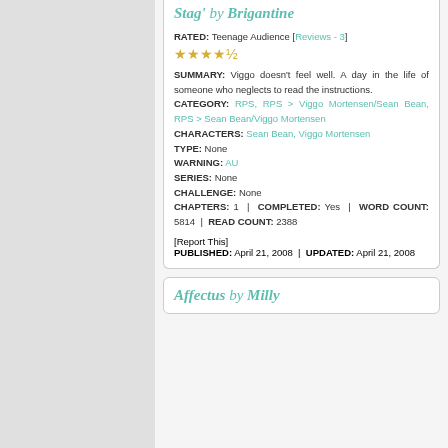Stag' by Brigantine
RATED: Teenage Audience [Reviews - 3] ★★★★½ SUMMARY: Viggo doesn't feel well. A day in the life of someone who neglects to read the instructions. CATEGORY: RPS, RPS > Viggo Mortensen/Sean Bean, RPS > Sean Bean/Viggo Mortensen CHARACTERS: Sean Bean, Viggo Mortensen TYPE: None WARNING: AU SERIES: None CHALLENGE: None CHAPTERS: 1 | COMPLETED: Yes | WORD COUNT: 5814 | READ COUNT: 2388
[Report This] PUBLISHED: April 21, 2008 | UPDATED: April 21, 2008
Affectus by Milly